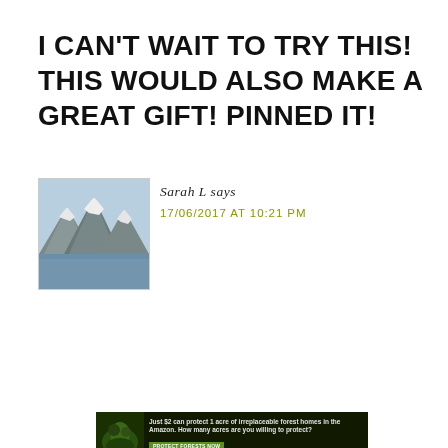I CAN'T WAIT TO TRY THIS! THIS WOULD ALSO MAKE A GREAT GIFT! PINNED IT!
Sarah L says
17/06/2017 AT 10:21 PM
[Figure (photo): Snow-capped mountains with water in foreground — commenter avatar photo]
Does the yellow batch get twice as much lemon EO?
[Figure (infographic): Advertisement: Just $2 can protect 1 acre of irreplaceable forest homes in the Amazon. How many acres are you willing to protect? PROTECT FORESTS NOW]